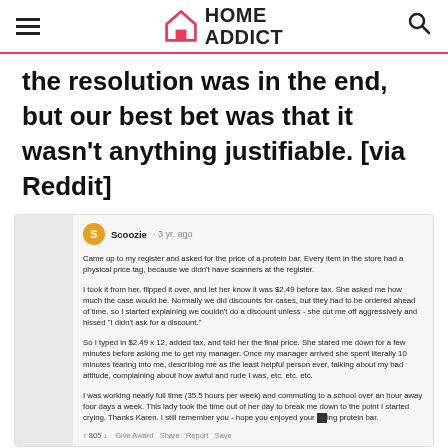HOME ADDICT
the resolution was in the end, but our best bet was that it wasn't anything justifiable. [via Reddit]
[Figure (screenshot): Reddit comment from user 'Scoozie' posted 3 years ago describing a customer service incident at a register involving a protein bar price inquiry, a rude customer, and a manager complaint.]
Advertisement
[Figure (other): Lidl advertisement banner reading 'Better Food. Betterer Prices' with Lidl logo and blue arrow icon.]